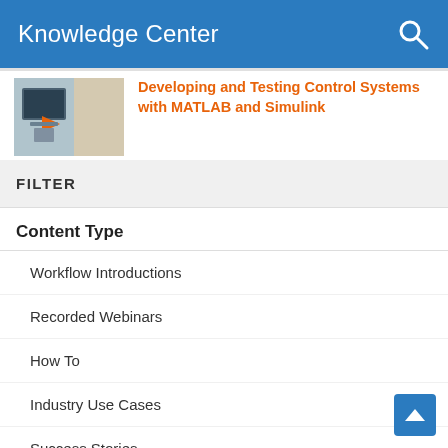Knowledge Center
[Figure (screenshot): Thumbnail image of a MATLAB/Simulink control system screen with an orange arrow]
Developing and Testing Control Systems with MATLAB and Simulink
aging learning broad set of g real-time ators and sensors, lators.
FILTER
Content Type
Workflow Introductions  3
Recorded Webinars  5
How To  0
Industry Use Cases  4
Success Stories  0
Reference Applications  1
Whitepapers  1